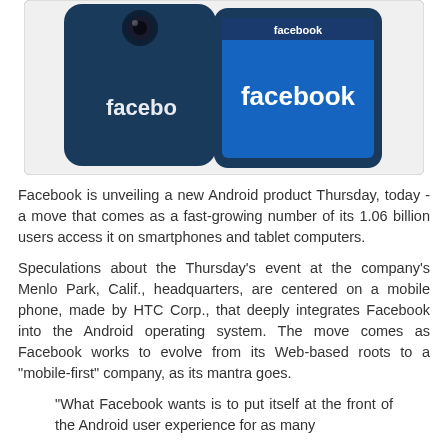[Figure (photo): Two HTC Android smartphones with Facebook branding displayed on their screens and backs, shown against a white background with a light gray border.]
Facebook is unveiling a new Android product Thursday, today - a move that comes as a fast-growing number of its 1.06 billion users access it on smartphones and tablet computers.
Speculations about the Thursday's event at the company's Menlo Park, Calif., headquarters, are centered on a mobile phone, made by HTC Corp., that deeply integrates Facebook into the Android operating system. The move comes as Facebook works to evolve from its Web-based roots to a "mobile-first" company, as its mantra goes.
"What Facebook wants is to put itself at the front of the Android user experience for as many